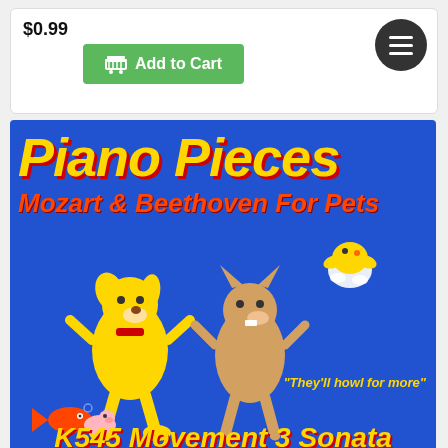$0.99
[Figure (screenshot): Green 'Add to Cart' button with shopping basket icon]
[Figure (illustration): Album cover for 'Piano Pieces: Mozart & Beethoven For Pets' featuring cartoon animals (dog, cat, chick, fish) on a blue background with yellow and red text. Bottom text reads 'K545 Movement 3 Sonata'. Tagline: 'They'll howl for more']